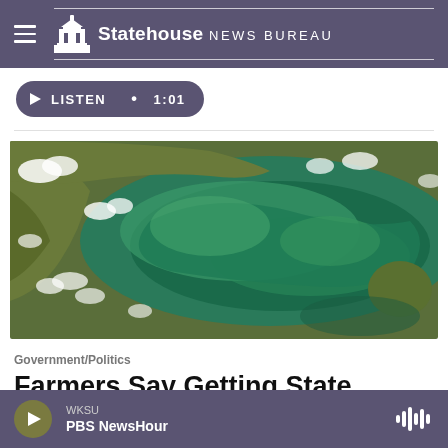Statehouse NEWS BUREAU
LISTEN • 1:01
[Figure (photo): Aerial/satellite view of a large body of water with algae bloom (green tones), surrounded by forested land with scattered clouds visible from above.]
Government/Politics
Farmers Say Getting State
WKSU PBS NewsHour